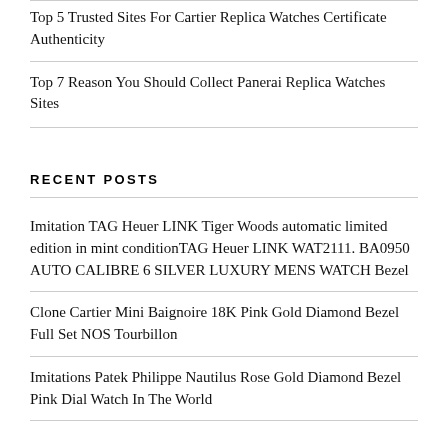Top 5 Trusted Sites For Cartier Replica Watches Certificate Authenticity
Top 7 Reason You Should Collect Panerai Replica Watches Sites
RECENT POSTS
Imitation TAG Heuer LINK Tiger Woods automatic limited edition in mint conditionTAG Heuer LINK WAT2111. BA0950 AUTO CALIBRE 6 SILVER LUXURY MENS WATCH Bezel
Clone Cartier Mini Baignoire 18K Pink Gold Diamond Bezel Full Set NOS Tourbillon
Imitations Patek Philippe Nautilus Rose Gold Diamond Bezel Pink Dial Watch In The World